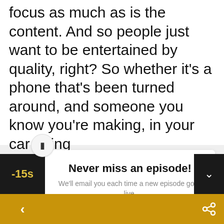focus as much as is the content. And so people just want to be entertained by quality, right? So whether it's a phone that's been turned around, and someone you know you're making, in your car going
Never miss an episode!
We'll email you each time a new episode goes live.
Email
SUBSCRIBE!
-15s
‹
∨
[Figure (screenshot): Share icon on gold bar]